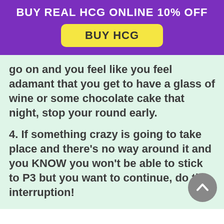BUY REAL HCG ONLINE 10% OFF
BUY HCG
go on and you feel like you feel adamant that you get to have a glass of wine or some chocolate cake that night, stop your round early.
4. If something crazy is going to take place and there's no way around it and you KNOW you won't be able to stick to P3 but you want to continue, do the interruption!